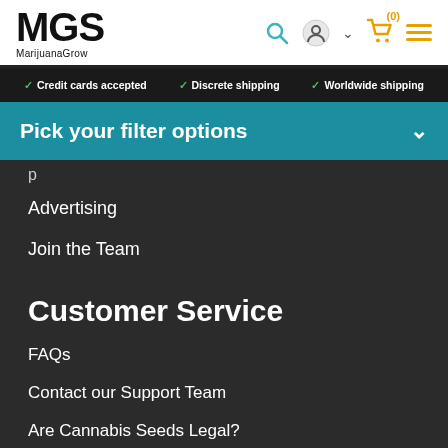[Figure (logo): MGS MarijuanaGrow logo with bold black text]
Credit cards accepted  Discrete shipping  Worldwide shipping
Pick your filter options
Advertising
Join the Team
Customer Service
FAQs
Contact our Support Team
Are Cannabis Seeds Legal?